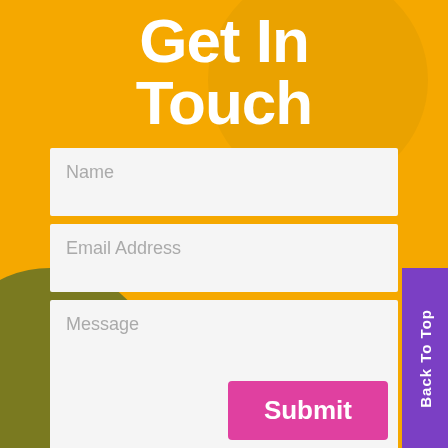Get In Touch
[Figure (infographic): Contact form UI with orange background, decorative olive green circle bottom-left, lighter arc shape top-right, three input fields (Name, Email Address, Message), a pink Submit button, and a purple Back To Top vertical tab on the right edge.]
Name
Email Address
Message
Submit
Back To Top